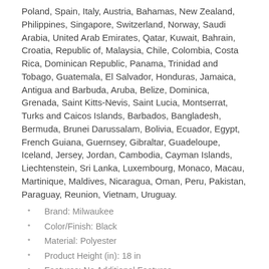Poland, Spain, Italy, Austria, Bahamas, New Zealand, Philippines, Singapore, Switzerland, Norway, Saudi Arabia, United Arab Emirates, Qatar, Kuwait, Bahrain, Croatia, Republic of, Malaysia, Chile, Colombia, Costa Rica, Dominican Republic, Panama, Trinidad and Tobago, Guatemala, El Salvador, Honduras, Jamaica, Antigua and Barbuda, Aruba, Belize, Dominica, Grenada, Saint Kitts-Nevis, Saint Lucia, Montserrat, Turks and Caicos Islands, Barbados, Bangladesh, Bermuda, Brunei Darussalam, Bolivia, Ecuador, Egypt, French Guiana, Guernsey, Gibraltar, Guadeloupe, Iceland, Jersey, Jordan, Cambodia, Cayman Islands, Liechtenstein, Sri Lanka, Luxembourg, Monaco, Macau, Martinique, Maldives, Nicaragua, Oman, Peru, Pakistan, Paraguay, Reunion, Vietnam, Uruguay.
Brand: Milwaukee
Color/Finish: Black
Material: Polyester
Product Height (in): 18 in
Features: No Additional Features
Tool Storage Product Type: Tool Backpack
Tools Product Type: Tool Storage
Tool Bag Grade: Heavy Duty
Number of outside pockets: 18
Nominal Width: 14